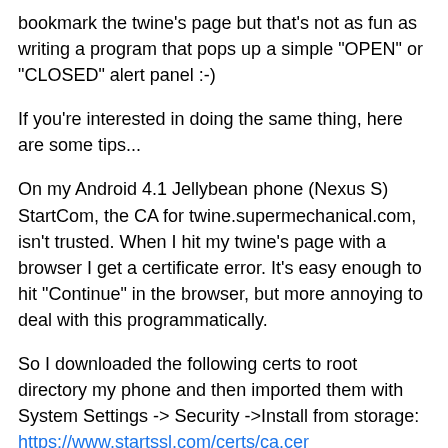bookmark the twine's page but that's not as fun as writing a program that pops up a simple "OPEN" or "CLOSED" alert panel :-)
If you're interested in doing the same thing, here are some tips...
On my Android 4.1 Jellybean phone (Nexus S) StartCom, the CA for twine.supermechanical.com, isn't trusted. When I hit my twine's page with a browser I get a certificate error. It's easy enough to hit "Continue" in the browser, but more annoying to deal with this programmatically.
So I downloaded the following certs to root directory my phone and then imported them with System Settings -> Security ->Install from storage:
https://www.startssl.com/certs/ca.cer
https://www.startssl.com/certs/sub.class1.client.ca.crt
(You may only need the second one but I loaded both to be sure)
Once you do that you should be able to access certificate any via...